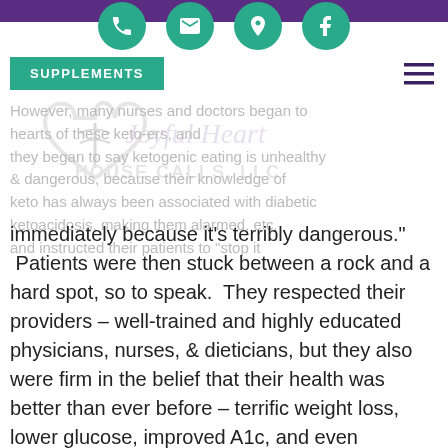Navigation bar with phone, email, location, and Facebook icons on teal circles over purple bar
[Figure (logo): Joyful Heart House Calls, LLC logo with heart and caduceus, shown as watermark behind faded background text]
However, many nurses and doctors began to hearts of these keto-ers, and they began to say ketogenic eating is unhealthy & dangerous, because their knowledge of keto has always been associated with diabetic ketoacidosis, making them alarmed, etc. and instructed their patients to "stop it immediately because it’s terribly dangerous."
Patients were then stuck between a rock and a hard spot, so to speak.  They respected their providers – well-trained and highly educated physicians, nurses, & dieticians, but they also were firm in the belief that their health was better than ever before – terrific weight loss, lower glucose, improved A1c, and even healthier